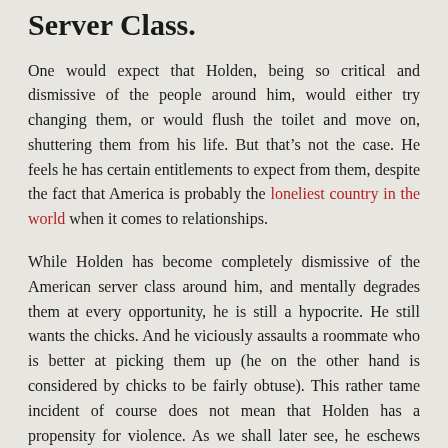Server Class.
One would expect that Holden, being so critical and dismissive of the people around him, would either try changing them, or would flush the toilet and move on, shuttering them from his life. But that’s not the case. He feels he has certain entitlements to expect from them, despite the fact that America is probably the loneliest country in the world when it comes to relationships.
While Holden has become completely dismissive of the American server class around him, and mentally degrades them at every opportunity, he is still a hypocrite. He still wants the chicks. And he viciously assaults a roommate who is better at picking them up (he on the other hand is considered by chicks to be fairly obtuse). This rather tame incident of course does not mean that Holden has a propensity for violence. As we shall later see, he eschews violence when there are more heavier people